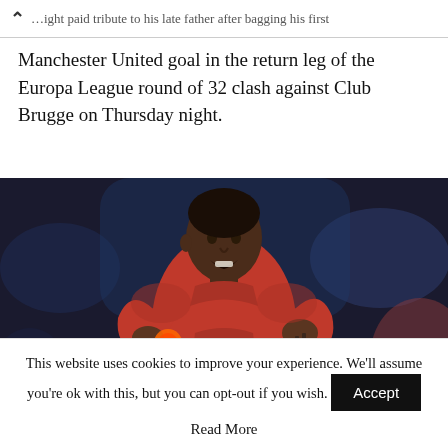…ight paid tribute to his late father after bagging his first Manchester United goal in the return leg of the Europa League round of 32 clash against Club Brugge on Thursday night.
Manchester United goal in the return leg of the Europa League round of 32 clash against Club Brugge on Thursday night.
[Figure (photo): A Manchester United footballer in a red jersey lifting the shirt, appearing to celebrate a goal, with Europa League badge visible on the sleeve. Background is blurred stadium lighting.]
This website uses cookies to improve your experience. We'll assume you're ok with this, but you can opt-out if you wish.
Accept
Read More